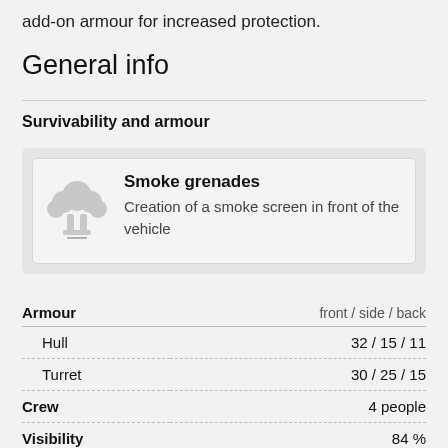add-on armour for increased protection.
General info
Survivability and armour
[Figure (illustration): Smoke grenade mushroom cloud icon (light grey)]
Smoke grenades
Creation of a smoke screen in front of the vehicle
| Armour | front / side / back |
| --- | --- |
| Hull | 32 / 15 / 11 |
| Turret | 30 / 25 / 15 |
| Crew | 4 people |
| Visibility | 84 % |